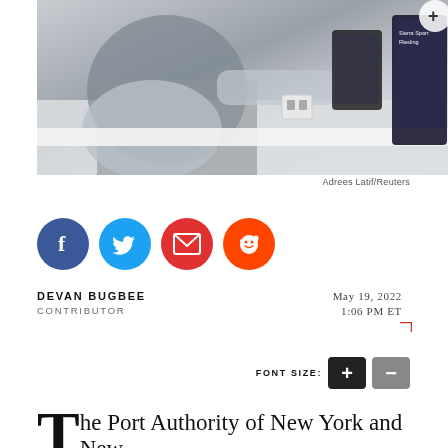[Figure (photo): A man at a bar or restaurant counter using a tablet device. The setting appears to be an upscale establishment with a white counter and drink dispensers.]
Adrees Latif/Reuters
[Figure (infographic): Social sharing icons: Facebook (blue circle with f), Twitter (blue circle with bird), Email (red circle with envelope), Reddit (orange circle with alien mascot)]
DEVAN BUGBEE
CONTRIBUTOR
May 19, 2022
1:06 PM ET
FONT SIZE:
The Port Authority of New York and New